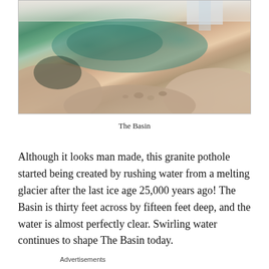[Figure (photo): A granite pothole known as The Basin, filled with clear greenish water surrounded by smooth rounded rocks, with a waterfall visible in the background.]
The Basin
Although it looks man made, this granite pothole started being created by rushing water from a melting glacier after the last ice age 25,000 years ago! The Basin is thirty feet across by fifteen feet deep, and the water is almost perfectly clear. Swirling water continues to shape The Basin today.
Advertisements